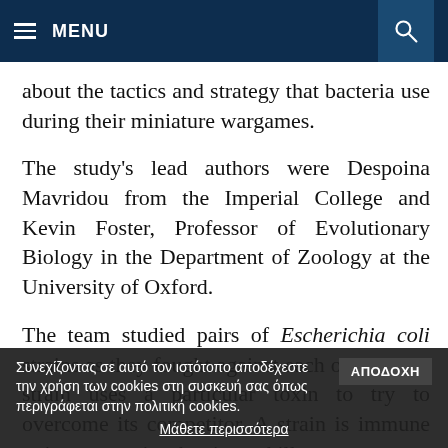MENU [search icon]
about the tactics and strategy that bacteria use during their miniature wargames.
The study's lead authors were Despoina Mavridou from the Imperial College and Kevin Foster, Professor of Evolutionary Biology in the Department of Zoology at the University of Oxford.
The team studied pairs of Escherichia coli strains as they fought against each other. Each strain uses a particular toxin to try to overcome its competitor. A strain is immune to its own toxins, but it can kill
Συνεχίζοντας σε αυτό τον ιστότοπο αποδέχεστε την χρήση των cookies στη συσκευή σας όπως περιγράφεται στην πολιτική cookies. [ΑΠΟΔΟΧΗ] Μάθετε περισσότερα [establish themsel...nity, such as the]